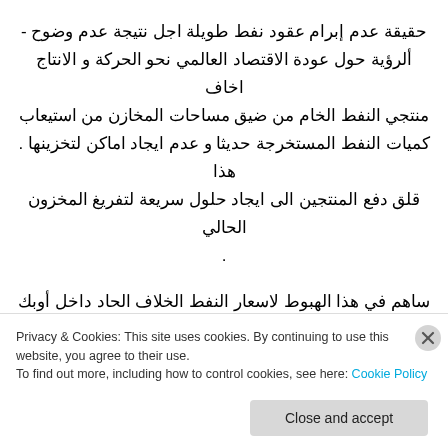حقيقة عدم إبرام عقود نفط طويلة اجل نتيجة عدم وضوح - ألرؤية حول عودة الاقتصاد العالمي نحو الحركة و الانتاج اخاف منتجي النفط الخام من ضيق مساحات المخازن من استيعاب كميات النفط المستخرجة حديثا و عدم ايجاد اماكن لتخزينها . هذا قلق دفع المنتجين الى ايجاد حلول سريعة لتفريغ المخزون الحالي .
ساهم في هذا الهبوط لاسعار النفط الخلاف الحاد داخل أوبك و - صراع الأسعار بين أعضاءه و فشل الحلول السريعة محاولات اصلاح ذات البس حتو اللحظة مما تراكم اثار السياسة المدمرة
Privacy & Cookies: This site uses cookies. By continuing to use this website, you agree to their use.
To find out more, including how to control cookies, see here: Cookie Policy
Close and accept